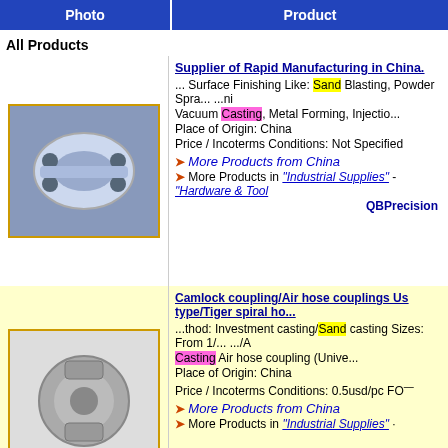Photo | Product
All Products
Supplier of Rapid Manufacturing in China. ... Surface Finishing Like: Sand Blasting, Powder Spra... ...ni Vacuum Casting, Metal Forming, Injectio... Place of Origin: China Price / Incoterms Conditions: Not Specified More Products from China More Products in "Industrial Supplies" - "Hardware & Tools" QBPrecision
[Figure (photo): Metal mechanical part, silver color, fork-like shape on blue background]
Camlock coupling/Air hose couplings Us type/Tiger spiral ho... ...thod: Investment casting/Sand casting Sizes: From 1/... .../A Casting Air hose coupling (Unive... Place of Origin: China Price / Incoterms Conditions: 0.5usd/pc FOB More Products from China More Products in "Industrial Supplies"
[Figure (photo): Metal camlock coupling/clamp on white background, TCMndustries label]
Plated silver bracelet charms with horse cl ...ing, forging, polishing, sand blasting, dra casting, forging, polishing, san... Place of Origin: China Price / Incoterms Conditions: FOB, EXW More Products from China More Products in "Stone, Glass & Jewe" Sh
[Figure (photo): Silver charm bracelet with horse charms]
Professional China Supplier Lost Wax Cas ...n, hand/machine molding) sand casting, mainly of casting, forging, machining, and Place of Origin: China
[Figure (photo): Metal casting part, dark grey, close-up]